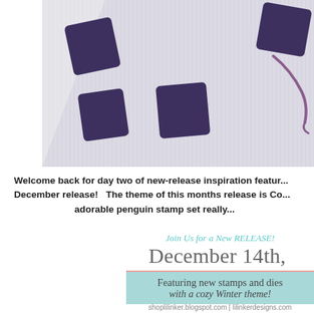[Figure (photo): Close-up photo of purple/dark violet rubber stamps on a striped/grid background, with a piece of purple thread or string visible. The stamps appear to be square-shaped blocks arranged on a white/cream textured surface resembling buffalo plaid or grid paper.]
Welcome back for day two of new-release inspiration featur... December release!   The theme of this months release is Co... adorable penguin stamp set really...
Join Us for a New RELEASE!
December 14th, 2018
Featuring new stamps and dies with a cozy Winter theme!
shoplilinker.blogspot.com | lilinkerdesigns.com